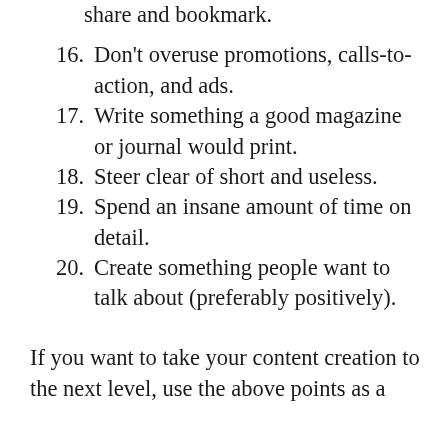share and bookmark.
16. Don't overuse promotions, calls-to-action, and ads.
17. Write something a good magazine or journal would print.
18. Steer clear of short and useless.
19. Spend an insane amount of time on detail.
20. Create something people want to talk about (preferably positively).
If you want to take your content creation to the next level, use the above points as a